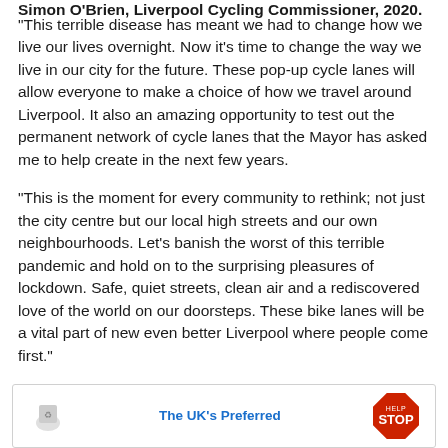Simon O'Brien, Liverpool Cycling Commissioner, 2020.
“This terrible disease has meant we had to change how we live our lives overnight. Now it’s time to change the way we live in our city for the future. These pop-up cycle lanes will allow everyone to make a choice of how we travel around Liverpool. It also an amazing opportunity to test out the permanent network of cycle lanes that the Mayor has asked me to help create in the next few years.
“This is the moment for every community to rethink; not just the city centre but our local high streets and our own neighbourhoods. Let’s banish the worst of this terrible pandemic and hold on to the surprising pleasures of lockdown. Safe, quiet streets, clean air and a rediscovered love of the world on our doorsteps. These bike lanes will be a vital part of new even better Liverpool where people come first.”
[Figure (other): Advertisement banner showing a logo on the left, 'The UK's Preferred' text in blue in the centre, and a red stop sign badge on the right.]